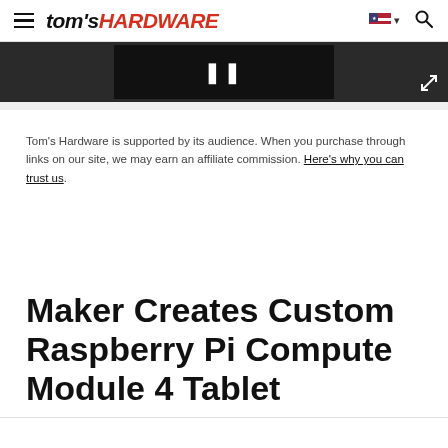tom's HARDWARE
[Figure (screenshot): Dark image strip with video thumbnail and expand icon]
Tom's Hardware is supported by its audience. When you purchase through links on our site, we may earn an affiliate commission. Here's why you can trust us.
Maker Creates Custom Raspberry Pi Compute Module 4 Tablet